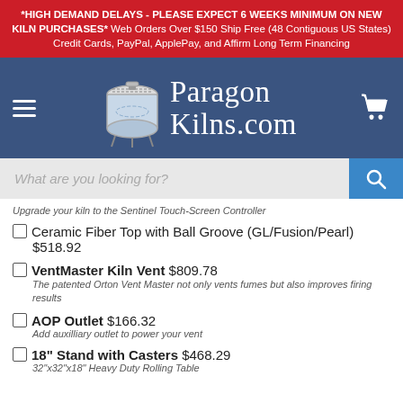*HIGH DEMAND DELAYS - PLEASE EXPECT 6 WEEKS MINIMUM ON NEW KILN PURCHASES* Web Orders Over $150 Ship Free (48 Contiguous US States) Credit Cards, PayPal, ApplePay, and Affirm Long Term Financing
[Figure (logo): Paragon Kilns.com logo with kiln image on blue navigation bar]
What are you looking for?
Upgrade your kiln to the Sentinel Touch-Screen Controller
Ceramic Fiber Top with Ball Groove (GL/Fusion/Pearl) $518.92
VentMaster Kiln Vent $809.78 — The patented Orton Vent Master not only vents fumes but also improves firing results
AOP Outlet $166.32 — Add auxilliary outlet to power your vent
18" Stand with Casters $468.29 — 32"x32"x18" Heavy Duty Rolling Table